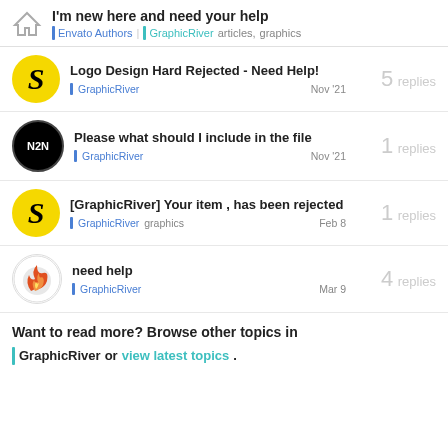I'm new here and need your help | Envato Authors | GraphicRiver | articles, graphics
Logo Design Hard Rejected - Need Help! | GraphicRiver | Nov '21 | 5 replies
Please what should I include in the file | GraphicRiver | Nov '21 | 1 replies
[GraphicRiver] Your item , has been rejected | GraphicRiver | graphics | Feb 8 | 1 replies
need help | GraphicRiver | Mar 9 | 4 replies
Want to read more? Browse other topics in GraphicRiver or view latest topics.